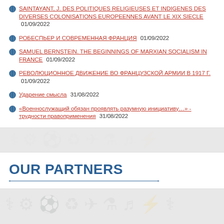SAINTAYANT, J. DES POLITIQUES RELIGIEUSES ET INDIGENES DES DIVERSES COLONISATIONS EUROPEENNES AVANT LE XIX SIECLE 01/09/2022
РОБЕСПЬЕР И СОВРЕМЕННАЯ ФРАНЦИЯ 01/09/2022
SAMUEL BERNSTEIN. THE BEGINNINGS OF MARXIAN SOCIALISM IN FRANCE 01/09/2022
РЕВОЛЮЦИОННОЕ ДВИЖЕНИЕ ВО ФРАНЦУЗСКОЙ АРМИИ В 1917 Г. 01/09/2022
Ударение смысла 31/08/2022
«Военнослужащий обязан проявлять разумную инициативу…» - трудности правоприменения 31/08/2022
OUR PARTNERS